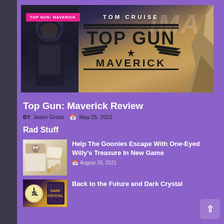[Figure (photo): Top Gun: Maverick IMAX movie promotional banner with Tom Cruise pilot figure on left, Top Gun Maverick logo in center, and fighter jet on right. Pink badge reads 'TOP GUN: MAVERICK' in top left corner.]
Top Gun: Maverick Review
BY Jason Gross  May 25, 2022
Rad Stuff
[Figure (photo): Thumbnail image showing board game pieces and components for a Goonies-themed escape game]
Help The Goonies Escape With One-Eyed Willy's Treasure In New Game
August 15, 2021
[Figure (photo): Thumbnail image for Back to the Future and Dark Crystal article]
Back to the Future and Dark Crystal